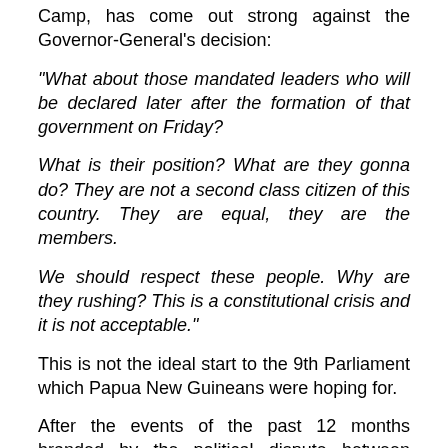Camp, has come out strong against the Governor-General's decision:
“What about those mandated leaders who will be declared later after the formation of that government on Friday?

What is their position? What are they gonna do? They are not a second class citizen of this country. They are equal, they are the members.

We should respect these people. Why are they rushing? This is a constitutional crisis and it is not acceptable.”
This is not the ideal start to the 9th Parliament which Papua New Guineans were hoping for.
After the events of the past 12 months branded by the political dispute between Somare and O’Neill/Namah, which appears to be two thirds resolved, the last thing